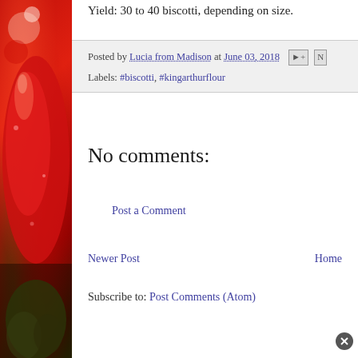[Figure (photo): Red strawberry/pepper photo on left sidebar]
Yield: 30 to 40 biscotti, depending on size.
Posted by Lucia from Madison at June 03, 2018
Labels: #biscotti, #kingarthurflour
No comments:
Post a Comment
Newer Post
Home
Subscribe to: Post Comments (Atom)